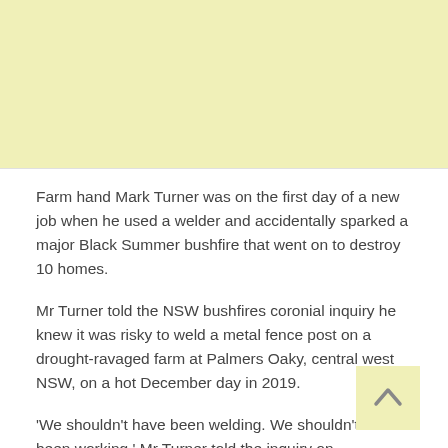[Figure (other): Advertisement banner area with light yellow background]
Farm hand Mark Turner was on the first day of a new job when he used a welder and accidentally sparked a major Black Summer bushfire that went on to destroy 10 homes.
Mr Turner told the NSW bushfires coronial inquiry he knew it was risky to weld a metal fence post on a drought-ravaged farm at Palmers Oaky, central west NSW, on a hot December day in 2019.
'We shouldn't have been welding. We shouldn't have been working,' Mr Turner told the inquiry on Wednesday, visibly stressed.
Farm hand Mark Turner said he accidentally started a Black...